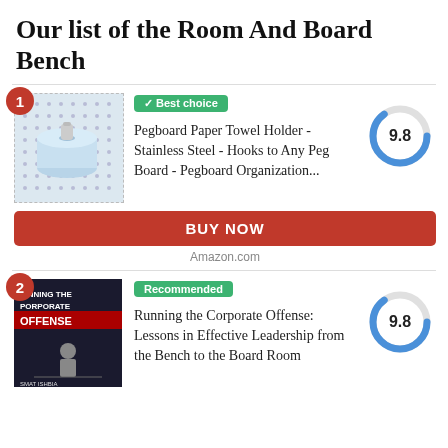Our list of the Room And Board Bench
[Figure (other): Product listing card 1: Pegboard Paper Towel Holder with best choice badge and 9.8 score donut chart]
✓ Best choice
Pegboard Paper Towel Holder - Stainless Steel - Hooks to Any Peg Board - Pegboard Organization...
BUY NOW
Amazon.com
[Figure (other): Product listing card 2: Running the Corporate Offense book with Recommended badge and 9.8 score donut chart]
Recommended
Running the Corporate Offense: Lessons in Effective Leadership from the Bench to the Board Room